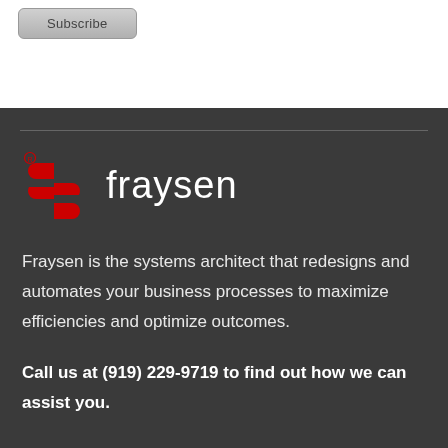[Figure (other): Subscribe button UI element]
[Figure (logo): Fraysen company logo with red stylized S icon and white fraysen wordmark]
Fraysen is the systems architect that redesigns and automates your business processes to maximize efficiencies and optimize outcomes.
Call us at (919) 229-9719 to find out how we can assist you.